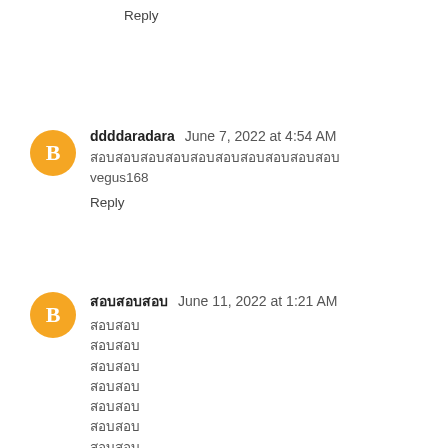Reply
ddddaradara  June 7, 2022 at 4:54 AM
สอบสอบสอบสอบสอ
vegus168
Reply
สอบสอบสอ  June 11, 2022 at 1:21 AM
สอบสอบ
สอบสอบ
สอบสอบ
สอบสอบ
สอบสอบ
สอบสอบ
สอบสอบ
สอบสอบ
สอบสอบ
สอบสอบ